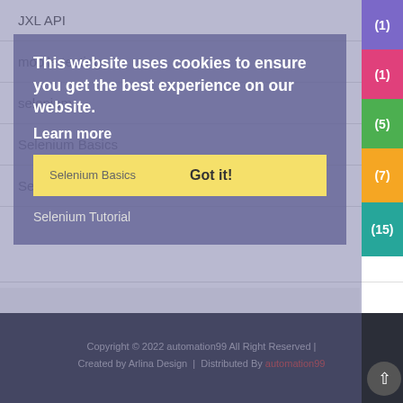JXL API (1)
mobile testing (1)
selenium (5)
Selenium Basics (7)
Selenium Tutorial (15)
This website uses cookies to ensure you get the best experience on our website.
Learn more
Got it!
Copyright © 2022 automation99 All Right Reserved | Created by Arlina Design | Distributed By automation99